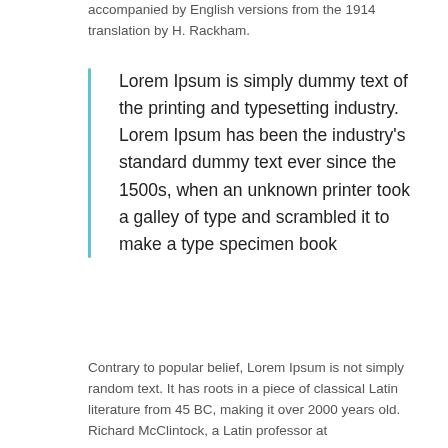accompanied by English versions from the 1914 translation by H. Rackham.
Lorem Ipsum is simply dummy text of the printing and typesetting industry. Lorem Ipsum has been the industry’s standard dummy text ever since the 1500s, when an unknown printer took a galley of type and scrambled it to make a type specimen book
Contrary to popular belief, Lorem Ipsum is not simply random text. It has roots in a piece of classical Latin literature from 45 BC, making it over 2000 years old. Richard McClintock, a Latin professor at